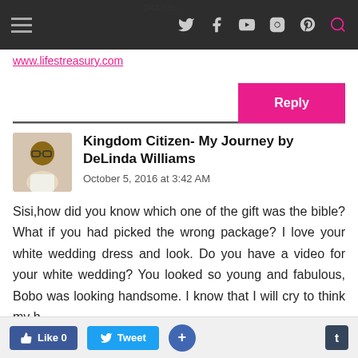www.lifestreasury.com
pictures.
Reply
Kingdom Citizen- My Journey by DeLinda Williams
October 5, 2016 at 3:42 AM
Sisi,how did you know which one of the gift was the bible? What if you had picked the wrong package? I love your white wedding dress and look. Do you have a video for your white wedding? You looked so young and fabulous, Bobo was looking handsome. I know that I will cry to think my h
Like 0  Tweet  +  t